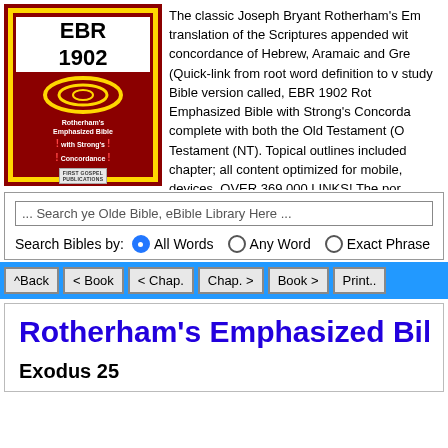[Figure (logo): EBR 1902 Rotherham's Emphasized Bible with Strong's Concordance logo with red border and yellow background, First Gospel Publications]
The classic Joseph Bryant Rotherham's Emphasized translation of the Scriptures appended with a concordance of Hebrew, Aramaic and Greek (Quick-link from root word definition to v... study Bible version called, EBR 1902 Rotherham's Emphasized Bible with Strong's Concordance, complete with both the Old Testament (OT) and New Testament (NT). Topical outlines included for each chapter; all content optimized for mobile, tablet devices. OVER 369,000 LINKS! The por...
... Search ye Olde Bible, eBible Library Here ...
Search Bibles by:  ● All Words  ○ Any Word  ○ Exact Phrase
^Back  < Book  < Chap.  Chap. >  Book >  Print..
Rotherham's Emphasized Bible
Exodus 25